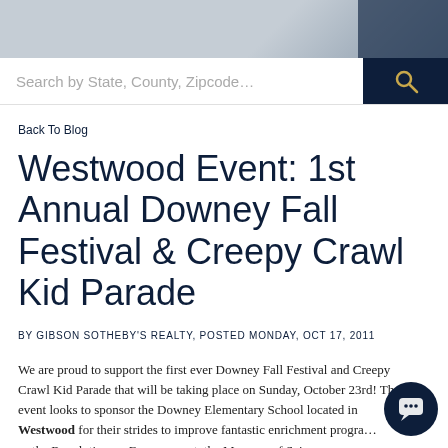[Figure (photo): Top banner image of a kitchen or interior, partially visible, gray-toned]
Search by State, County, Zipcode…
Back To Blog
Westwood Event: 1st Annual Downey Fall Festival & Creepy Crawl Kid Parade
BY GIBSON SOTHEBY'S REALTY, POSTED MONDAY, OCT 17, 2011
We are proud to support the first ever Downey Fall Festival and Creepy Crawl Kid Parade that will be taking place on Sunday, October 23rd! The event looks to sponsor the Downey Elementary School located in Westwood for their strides to improve fantastic enrichment progra… as the Revolutionary Encampment, the Museum of Science